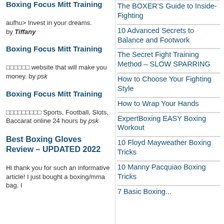Boxing Focus Mitt Training
aufhu> Invest in your dreams. by Tiffany
Boxing Focus Mitt Training
□□□□□□ website that will make you money. by psk
Boxing Focus Mitt Training
□□□□□□□□□ Sports, Football, Slots, Baccarat online 24 hours by psk
Best Boxing Gloves Review – UPDATED 2022
Hi thank you for such an informative article! I just bought a boxing/mma bag. I
The BOXER'S Guide to Inside-Fighting
10 Advanced Secrets to Balance and Footwork
The Secret Fight Training Method – SLOW SPARRING
How to Choose Your Fighting Style
How to Wrap Your Hands
ExpertBoxing EASY Boxing Workout
10 Floyd Mayweather Boxing Tricks
10 Manny Pacquiao Boxing Tricks
7 Basic Boxing...